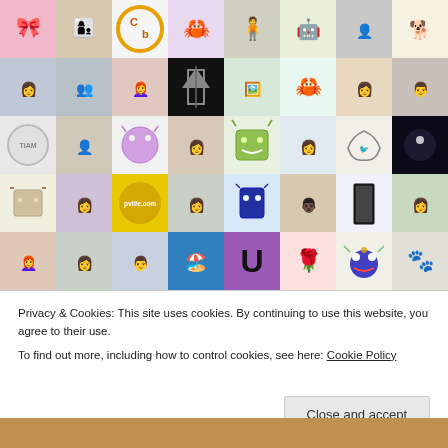[Figure (screenshot): Grid of avatar/profile images from a blog or social platform, arranged in 5 rows of 8 columns. Contains cartoon characters, illustrated monsters, profile photos of people, logos, and decorative images.]
Privacy & Cookies: This site uses cookies. By continuing to use this website, you agree to their use.
To find out more, including how to control cookies, see here: Cookie Policy
Close and accept